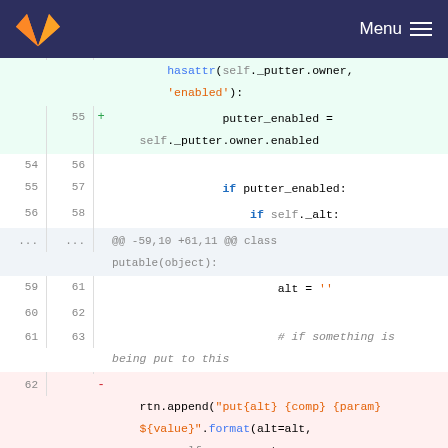GitLab — Menu
[Figure (screenshot): Git diff view showing code changes in a Python file. Lines 54-64 showing additions to putter_enabled logic and changes to rtn.append call.]